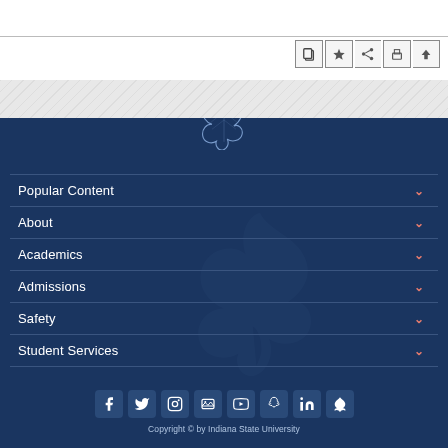[Figure (screenshot): Toolbar with copy, bookmark, share, print, and scroll-to-top icon buttons]
[Figure (logo): Indiana State University sycamore leaf logo in navy blue]
Popular Content
About
Academics
Admissions
Safety
Student Services
[Figure (infographic): Social media icons row: Facebook, Twitter, Instagram, Flickr, YouTube, Snapchat, LinkedIn, ISU app]
Copyright © by Indiana State University